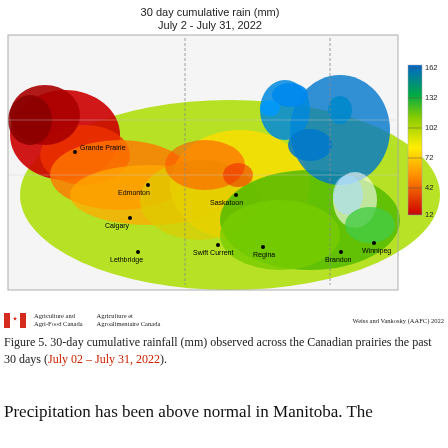[Figure (map): 30-day cumulative rainfall map (mm) over the Canadian prairies July 2 - July 31, 2022. Color scale from red (12mm) through orange, yellow, green to blue (162mm). Cities labeled: Grande Prairie, Edmonton, Calgary, Lethbridge, Swift Current, Saskatoon, Regina, Brandon, Winnipeg. Color legend bar on right side showing values 12, 42, 72, 102, 132, 162.]
Figure 5. 30-day cumulative rainfall (mm) observed across the Canadian prairies the past 30 days ( July 02 – July 31, 2022).
Precipitation has been above normal in Manitoba. The